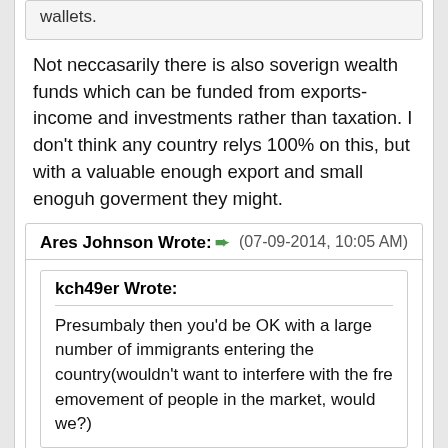wallets.
Not neccasarily there is also soverign wealth funds which can be funded from exports- income and investments rather than taxation. I don't think any country relys 100% on this, but with a valuable enough export and small enoguh goverment they might.
Ares Johnson Wrote: → (07-09-2014, 10:05 AM)
kch49er Wrote:
Presumbaly then you'd be OK with a large number of immigrants entering the country(wouldn't want to interfere with the fre emovement of people in the market, would we?)
Freedom of Movement is important, yes. I've lately started pondering about Korea's DMZ in conjunction with this issue. Yeah, it keeps North Korea's military out of South Korea, but it does pretty much keep North Koreans stuck there, doesn't it? Might be more of them would get the hell out of dodge if they didn't